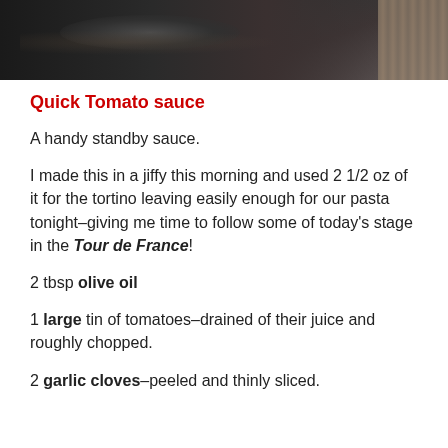[Figure (photo): Close-up photo of a dark, textured clay or ceramic pot/bowl with woven/ribbed texture on the right side, viewed from above.]
Quick Tomato sauce
A handy standby sauce.
I made this in a jiffy this morning and used 2 1/2 oz of it for the tortino leaving easily enough for our pasta tonight–giving me time to follow some of today's stage in the Tour de France!
2 tbsp olive oil
1 large tin of tomatoes–drained of their juice and roughly chopped.
2 garlic cloves–peeled and thinly sliced.